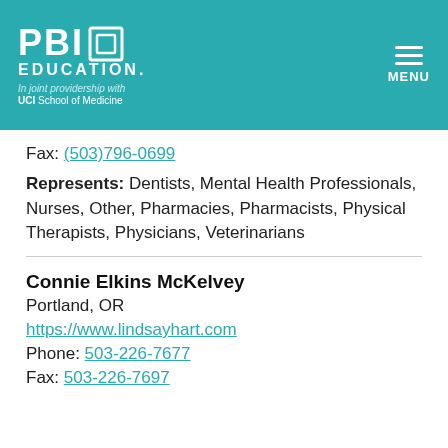PBI EDUCATION In joint providership with UCI School of Medicine | MENU
Fax: (503)796-0699
Represents: Dentists, Mental Health Professionals, Nurses, Other, Pharmacies, Pharmacists, Physical Therapists, Physicians, Veterinarians
Connie Elkins McKelvey
Portland, OR
https://www.lindsayhart.com
Phone: 503-226-7677
Fax: 503-226-7697